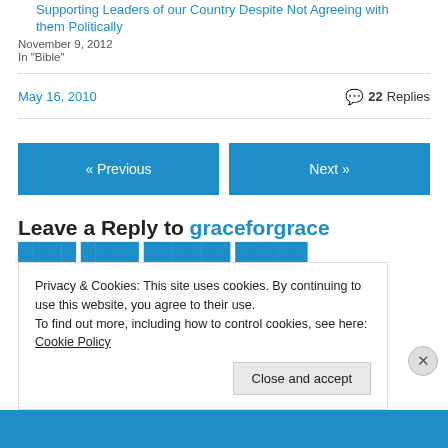Supporting Leaders of our Country Despite Not Agreeing with them Politically
November 9, 2012
In "Bible"
May 16, 2010   💬 22 Replies
« Previous
Next »
Leave a Reply to graceforgrace
Privacy & Cookies: This site uses cookies. By continuing to use this website, you agree to their use.
To find out more, including how to control cookies, see here: Cookie Policy
Close and accept